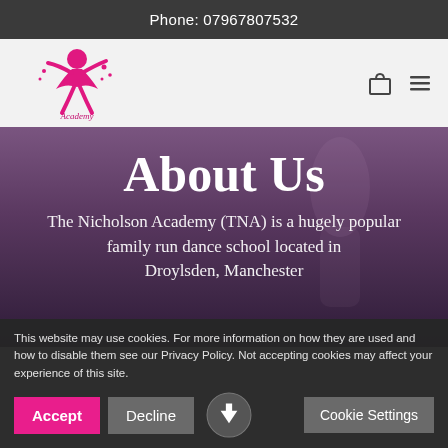Phone: 07967807532
[Figure (logo): The Nicholson Academy dance school logo featuring a dancer silhouette in pink/magenta with Academy text]
About Us
The Nicholson Academy (TNA) is a hugely popular family run dance school located in Droylsden, Manchester
This website may use cookies. For more information on how they are used and how to disable them see our Privacy Policy. Not accepting cookies may affect your experience of this site.